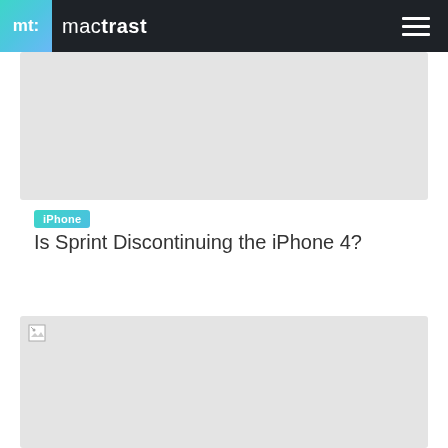mt: mactrast
[Figure (other): Gray placeholder image block at top]
iPhone
Is Sprint Discontinuing the iPhone 4?
[Figure (other): Gray placeholder image block at bottom with broken image icon]